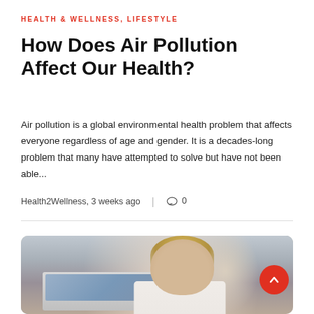HEALTH & WELLNESS, LIFESTYLE
How Does Air Pollution Affect Our Health?
Air pollution is a global environmental health problem that affects everyone regardless of age and gender. It is a decades-long problem that many have attempted to solve but have not been able...
Health2Wellness, 3 weeks ago  |  ○ 0
[Figure (photo): Woman with blonde hair in a bun, wearing glasses, rubbing her eyes/nose in apparent stress or fatigue, seated at a laptop. Background shows clothing on hangers and a white room.]